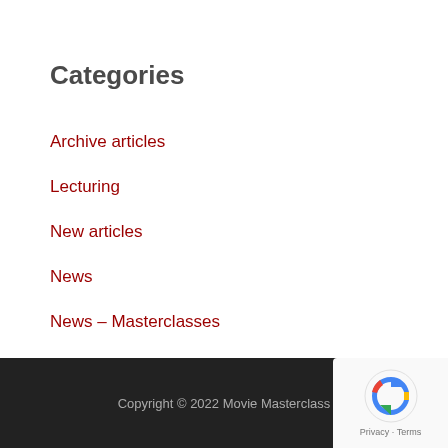Categories
Archive articles
Lecturing
New articles
News
News – Masterclasses
Production
Uncategorized
Copyright © 2022 Movie Masterclass